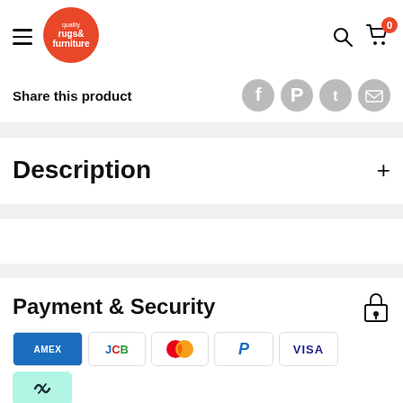[Figure (logo): Quality Rugs & Furniture logo - red circle with white text]
Share this product
[Figure (illustration): Social share icons: Facebook, Pinterest, Twitter, Email]
Description
Payment & Security
[Figure (illustration): Payment method icons: Amex, JCB, Mastercard, PayPal, Visa, Afterpay]
Your payment information is processed securely. We do not store credit card details nor have access to your credit card